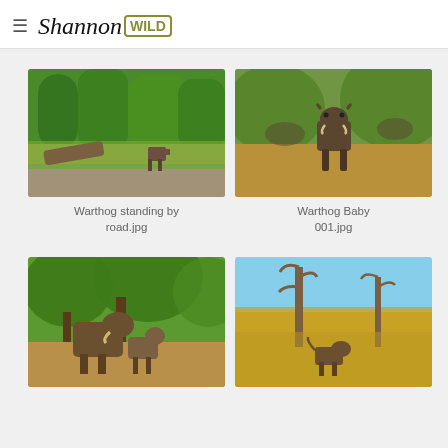Shannon WILD
[Figure (photo): Warthog standing by a road with green trees in background]
Warthog standing by road.jpg
[Figure (photo): Warthog baby facing camera on brown dirt ground with herd in background]
Warthog Baby 001.jpg
[Figure (photo): Adult warthog and baby warthog standing together under green trees]
[Figure (photo): Warthog in dry golden grass savanna landscape with bare trees]